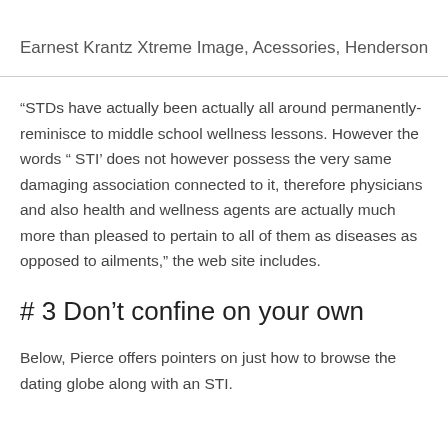Earnest Krantz Xtreme Image, Acessories, Henderson
“STDs have actually been actually all around permanently- reminisce to middle school wellness lessons. However the words “ STI’ does not however possess the very same damaging association connected to it, therefore physicians and also health and wellness agents are actually much more than pleased to pertain to all of them as diseases as opposed to ailments,” the web site includes.
# 3 Don’t confine on your own
Below, Pierce offers pointers on just how to browse the dating globe along with an STI.